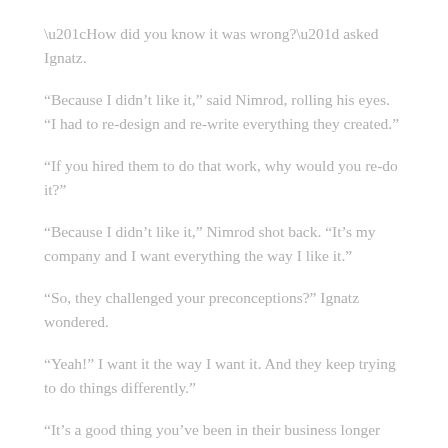“How did you know it was wrong?” asked Ignatz.
“Because I didn’t like it,” said Nimrod, rolling his eyes. “I had to re-design and re-write everything they created.”
“If you hired them to do that work, why would you re-do it?”
“Because I didn’t like it,” Nimrod shot back. “It’s my company and I want everything the way I like it.”
“So, they challenged your preconceptions?” Ignatz wondered.
“Yeah!” I want it the way I want it. And they keep trying to do things differently.”
“It’s a good thing you’ve been in their business longer than they have,” Ignatz said wryly.